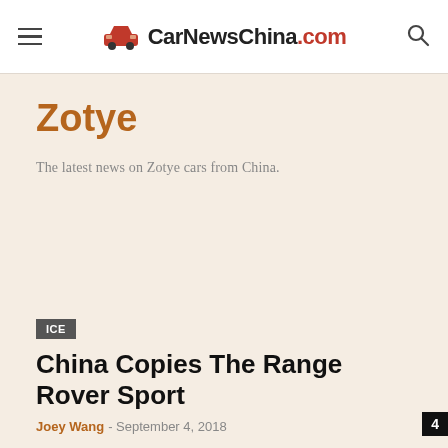CarNewsChina.com
Zotye
The latest news on Zotye cars from China.
ICE
China Copies The Range Rover Sport
Joey Wang - September 4, 2018